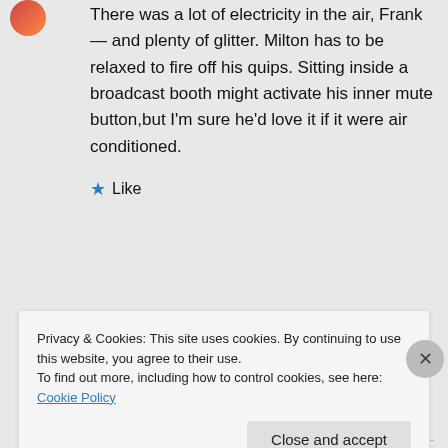There was a lot of electricity in the air, Frank — and plenty of glitter. Milton has to be relaxed to fire off his quips. Sitting inside a broadcast booth might activate his inner mute button,but I'm sure he'd love it if it were air conditioned.
★ Like
↳ Reply
Privacy & Cookies: This site uses cookies. By continuing to use this website, you agree to their use.
To find out more, including how to control cookies, see here: Cookie Policy
Close and accept